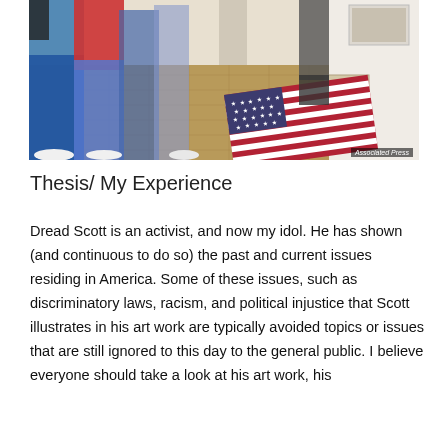[Figure (photo): A group of people standing in an indoor gallery space with a parquet floor. An American flag is laid flat on the floor in the lower right portion of the image. Some people appear to be observing the installation. Associated Press credit visible.]
Thesis/ My Experience
Dread Scott is an activist, and now my idol. He has shown (and continuous to do so) the past and current issues residing in America. Some of these issues, such as discriminatory laws, racism, and political injustice that Scott illustrates in his art work are typically avoided topics or issues that are still ignored to this day to the general public. I believe everyone should take a look at his art work, his